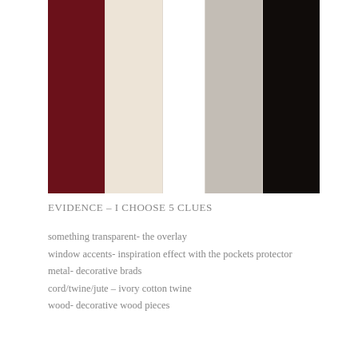[Figure (infographic): Color palette swatches showing five vertical color bars: dark burgundy/crimson, cream/ivory, white, light gray, and near-black. The swatches are tall vertical rectangles arranged side by side with slight gaps.]
EVIDENCE – I CHOOSE 5 CLUES
something transparent- the overlay
window accents- inspiration effect with the pockets protector
metal- decorative brads
cord/twine/jute – ivory cotton twine
wood- decorative wood pieces